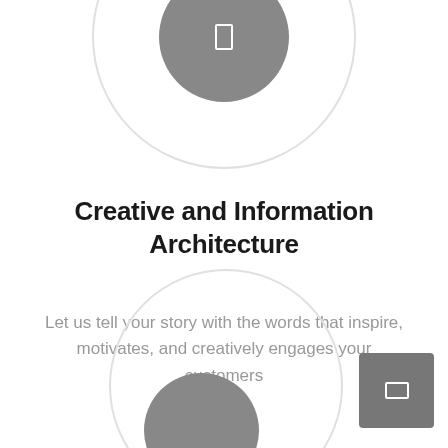[Figure (illustration): Top portion of a large circle with a lighter outer ring and a dark grey filled inner circle containing a small white rectangle icon (representing a mobile or screen interface element)]
Creative and Information Architecture
Let us tell your story with the words that inspire, motivates, and creatively engages your customers
[Figure (illustration): Bottom portion of a large circle with a lighter outer ring and a dark grey filled inner circle, partially cut off at the page bottom. A dark grey square button with a white horizontal rectangle icon appears at the bottom right corner.]